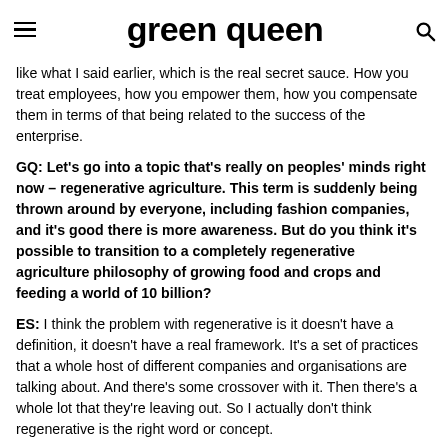green queen
like what I said earlier, which is the real secret sauce. How you treat employees, how you empower them, how you compensate them in terms of that being related to the success of the enterprise.
GQ: Let's go into a topic that's really on peoples' minds right now – regenerative agriculture. This term is suddenly being thrown around by everyone, including fashion companies, and it's good there is more awareness. But do you think it's possible to transition to a completely regenerative agriculture philosophy of growing food and crops and feeding a world of 10 billion?
ES: I think the problem with regenerative is it doesn't have a definition, it doesn't have a real framework. It's a set of practices that a whole host of different companies and organisations are talking about. And there's some crossover with it. Then there's a whole lot that they're leaving out. So I actually don't think regenerative is the right word or concept.